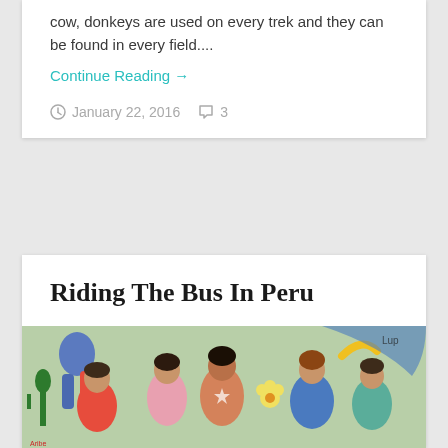cow, donkeys are used on every trek and they can be found in every field....
Continue Reading →
January 22, 2016   3
Riding The Bus In Peru
[Figure (photo): Colorful mural showing people, with text CON SOLIDARIDAD at the bottom]